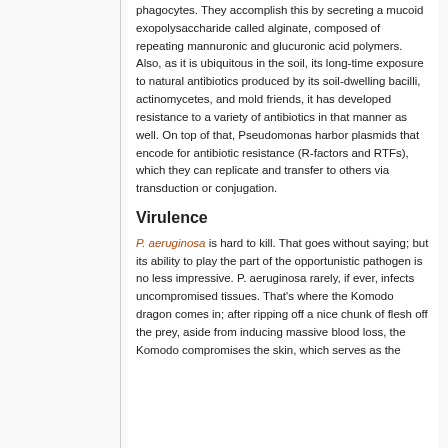phagocytes. They accomplish this by secreting a mucoid exopolysaccharide called alginate, composed of repeating mannuronic and glucuronic acid polymers. Also, as it is ubiquitous in the soil, its long-time exposure to natural antibiotics produced by its soil-dwelling bacilli, actinomycetes, and mold friends, it has developed resistance to a variety of antibiotics in that manner as well. On top of that, Pseudomonas harbor plasmids that encode for antibiotic resistance (R-factors and RTFs), which they can replicate and transfer to others via transduction or conjugation.
Virulence
P. aeruginosa is hard to kill. That goes without saying; but its ability to play the part of the opportunistic pathogen is no less impressive. P. aeruginosa rarely, if ever, infects uncompromised tissues. That's where the Komodo dragon comes in; after ripping off a nice chunk of flesh off the prey, aside from inducing massive blood loss, the Komodo compromises the skin, which serves as the